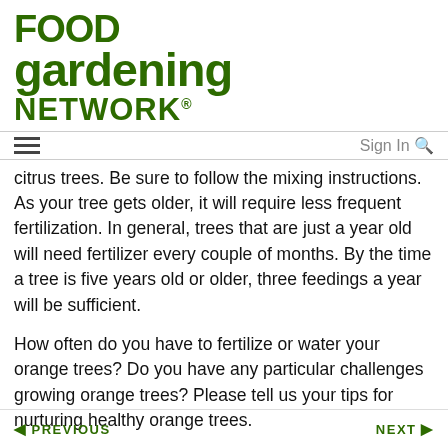[Figure (logo): Food Gardening Network logo in dark green bold serif-style font]
≡   Sign In 🔍
citrus trees. Be sure to follow the mixing instructions. As your tree gets older, it will require less frequent fertilization. In general, trees that are just a year old will need fertilizer every couple of months. By the time a tree is five years old or older, three feedings a year will be sufficient.
How often do you have to fertilize or water your orange trees? Do you have any particular challenges growing orange trees? Please tell us your tips for nurturing healthy orange trees.
◄ PREVIOUS   NEXT ►